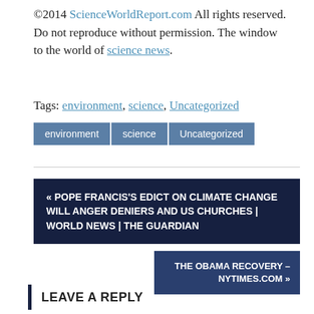©2014 ScienceWorldReport.com All rights reserved. Do not reproduce without permission. The window to the world of science news.
Tags: environment, science, Uncategorized
environment  science  Uncategorized
« POPE FRANCIS'S EDICT ON CLIMATE CHANGE WILL ANGER DENIERS AND US CHURCHES | WORLD NEWS | THE GUARDIAN
THE OBAMA RECOVERY – NYTIMES.COM »
LEAVE A REPLY